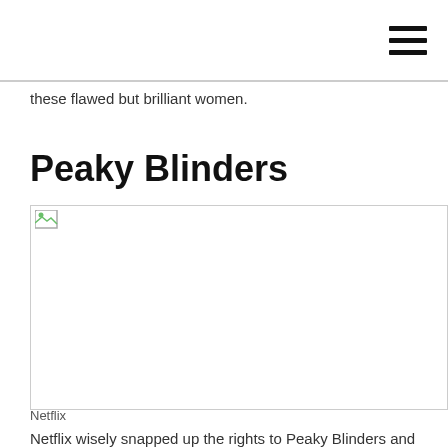these flawed but brilliant women.
Peaky Blinders
[Figure (photo): Broken image placeholder for a Peaky Blinders related photo]
Netflix
Netflix wisely snapped up the rights to Peaky Blinders and there